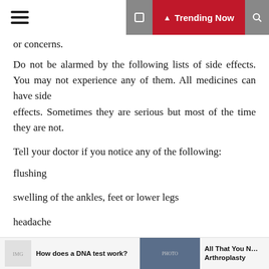Trending Now
or concerns.
Do not be alarmed by the following lists of side effects. You may not experience any of them. All medicines can have side effects. Sometimes they are serious but most of the time they are not.
Tell your doctor if you notice any of the following:
flushing
swelling of the ankles, feet or lower legs
headache
dizziness
How does a DNA test work?   All That You N… Arthroplasty